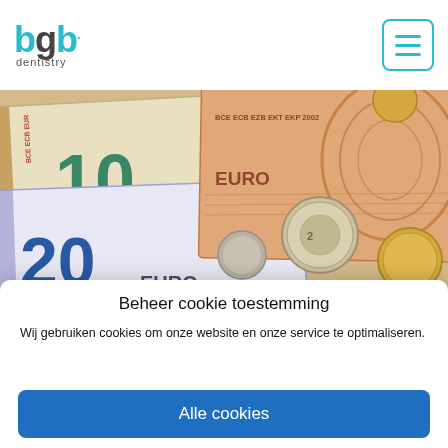[Figure (logo): BGB Dentistry logo with teal/cyan colored letters and subtitle 'dentistry']
[Figure (photo): Photo of Euro banknotes (10 and 20 Euro) and coins spread out on a surface]
Beheer cookie toestemming
Wij gebruiken cookies om onze website en onze service te optimaliseren.
Alle cookies
Weigeren